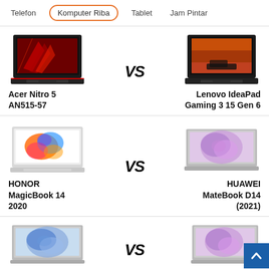Telefon | Komputer Riba | Tablet | Jam Pintar
[Figure (screenshot): Comparison card: Acer Nitro 5 AN515-57 vs Lenovo IdeaPad Gaming 3 15 Gen 6 with laptop product images and VS text]
[Figure (screenshot): Comparison card: HONOR MagicBook 14 2020 vs HUAWEI MateBook D14 (2021) with laptop product images and VS text]
[Figure (screenshot): Partial comparison card at bottom showing two laptops and VS text, with scroll-to-top button]